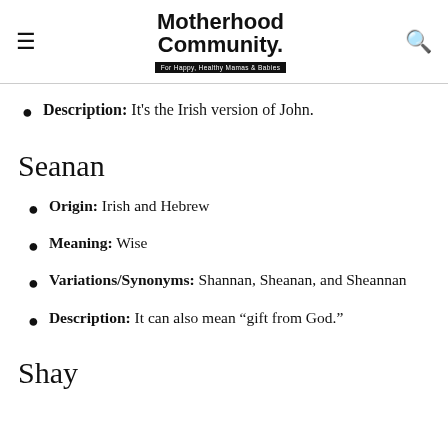Motherhood Community. For Happy, Healthy Mamas & Babies
Description: It's the Irish version of John.
Seanan
Origin: Irish and Hebrew
Meaning: Wise
Variations/Synonyms: Shannan, Sheanan, and Sheannan
Description: It can also mean “gift from God.”
Shay